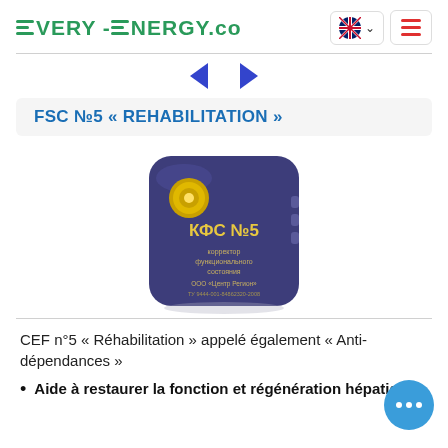EVERY-ENERGY.co
FSC №5 « REHABILITATION »
[Figure (photo): A purple/dark blue rectangular device labeled КФС №5 (КФС stands for corrector of functional state), with gold emblem, made by ООО «Центр Регион»]
CEF n°5 « Réhabilitation » appelé également « Anti-dépendances »
Aide à restaurer la fonction et régénération hépatiques